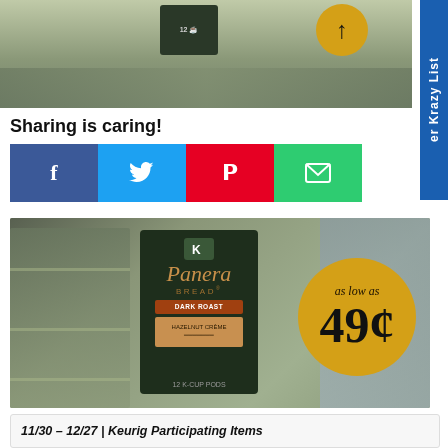[Figure (photo): Person holding a Panera Bread K-cup box in a grocery store, with a small gold circle partially visible top right corner]
Sharing is caring!
[Figure (infographic): Social share buttons: Facebook (blue), Twitter (cyan), Pinterest (red), Email (green)]
[Figure (photo): Person holding a Panera Bread 12ct K-cup box in a grocery store. Gold circle overlay reads 'as low as 49¢']
11/30 – 12/27 | Keurig Participating Items Buy (2) = $1.50 OYNO